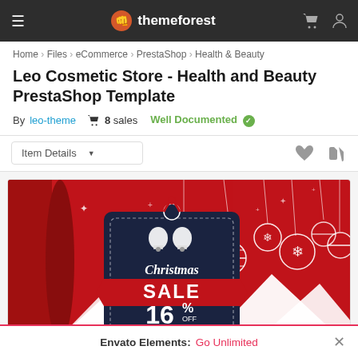≡  themeforest  🛒  👤
Home > Files > eCommerce > PrestaShop > Health & Beauty
Leo Cosmetic Store - Health and Beauty PrestaShop Template
By leo-theme  🛒 8 sales  Well Documented ✓
Item Details ▼
[Figure (screenshot): Christmas Sale banner image with red background, hanging Christmas ornaments (snowflakes and striped balls), white Christmas trees, and a dark navy gift tag reading 'Christmas SALE 16% OFF BIG OFFER']
Envato Elements: Go Unlimited  ×